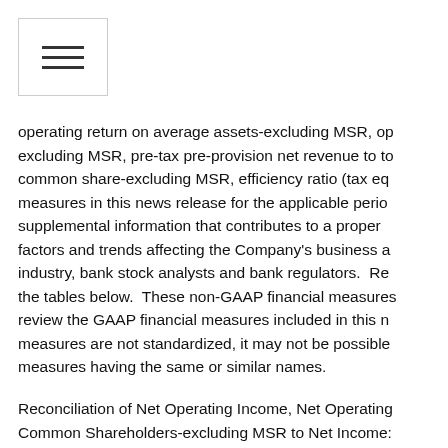[Figure (other): Hamburger menu icon - three horizontal lines inside a bordered rectangle]
operating return on average assets-excluding MSR, operating return on average assets-excluding MSR, pre-tax pre-provision net revenue to total assets-excluding MSR, pre-tax pre-provision net revenue per common share-excluding MSR, efficiency ratio (tax equivalent basis). We present these measures in this news release for the applicable periods because we believe they provide supplemental information that contributes to a proper understanding of the financial factors and trends affecting the Company's business and are used within our industry, bank stock analysts and bank regulators. Reconciliations are provided in the tables below. These non-GAAP financial measures should be considered in addition to, not as a substitute for or superior to, measures of financial performance prepared in accordance with GAAP. A reader should review the GAAP financial measures included in this news release. Because non-GAAP financial measures are not standardized, it may not be possible to compare our non-GAAP financial measures having the same or similar names.
Reconciliation of Net Operating Income, Net Operating Return on Average Assets, Net Operating Income Available to Common Shareholders-excluding MSR to Net Income: